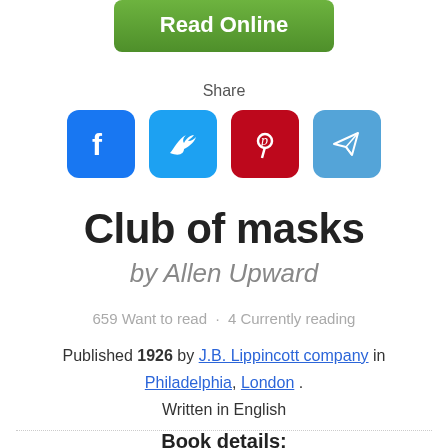[Figure (other): Green 'Read Online' button]
Share
[Figure (infographic): Social sharing icons: Facebook (blue), Twitter (cyan), Pinterest (red), Telegram (light blue)]
Club of masks
by Allen Upward
659 Want to read · 4 Currently reading
Published 1926 by J.B. Lippincott company in Philadelphia, London . Written in English
Book details: